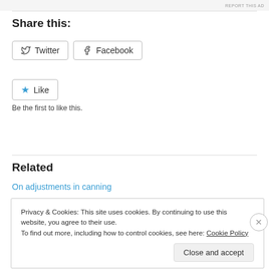Share this:
Twitter
Facebook
Like
Be the first to like this.
Related
On adjustments in canning
Privacy & Cookies: This site uses cookies. By continuing to use this website, you agree to their use.
To find out more, including how to control cookies, see here: Cookie Policy
Close and accept